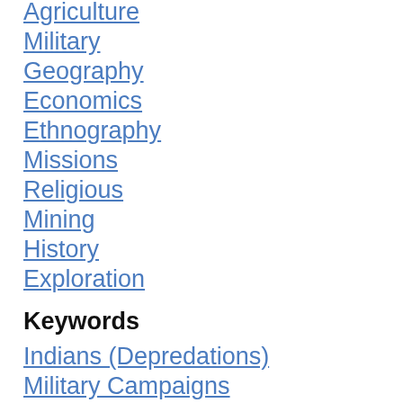Agriculture
Military
Geography
Economics
Ethnography
Missions
Religious
Mining
History
Exploration
Keywords
Indians (Depredations)
Military Campaigns
Indians (Intertribal Relations)
Animals (Domestic)
Weapons